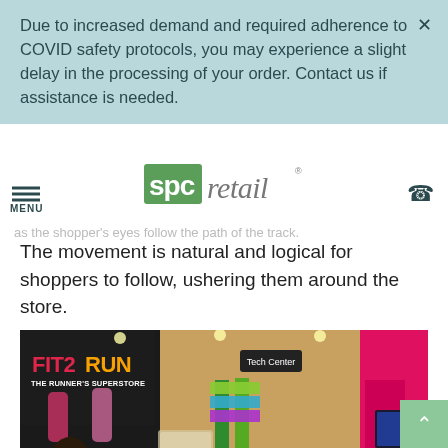Due to increased demand and required adherence to COVID safety protocols, you may experience a slight delay in the processing of your order. Contact us if assistance is needed.
[Figure (logo): SPC Retail logo — green block letters 'spc' with 'retail' in gray italic]
create a message that resonates with shoppers. In the example spc creates motion as the shopper's eyes follow the path of the track.
The movement is natural and logical for shoppers to follow, ushering them around the store.
[Figure (photo): Interior of Fit2Run The Runner's Superstore showing a running track floor, display cases, green and pink merchandise racks, and a Tech Center sign.]